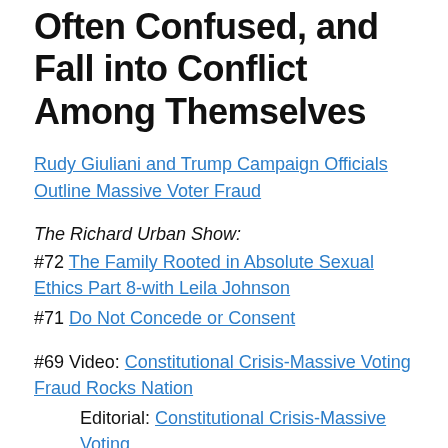Often Confused, and Fall into Conflict Among Themselves
Rudy Giuliani and Trump Campaign Officials Outline Massive Voter Fraud
The Richard Urban Show:
#72 The Family Rooted in Absolute Sexual Ethics Part 8-with Leila Johnson
#71 Do Not Concede or Consent
#69 Video: Constitutional Crisis-Massive Voting Fraud Rocks Nation
Editorial: Constitutional Crisis-Massive Voting